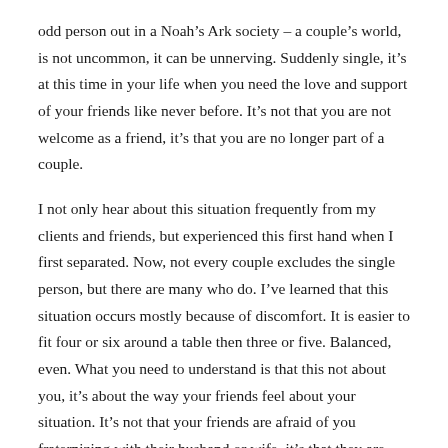odd person out in a Noah's Ark society – a couple's world, is not uncommon, it can be unnerving. Suddenly single, it's at this time in your life when you need the love and support of your friends like never before. It's not that you are not welcome as a friend, it's that you are no longer part of a couple.
I not only hear about this situation frequently from my clients and friends, but experienced this first hand when I first separated. Now, not every couple excludes the single person, but there are many who do. I've learned that this situation occurs mostly because of discomfort. It is easier to fit four or six around a table then three or five. Balanced, even. What you need to understand is that this not about you, it's about the way your friends feel about your situation. It's not that your friends are afraid of you fraternizing with their husband or wife, it's that they are used to socializing with you as a